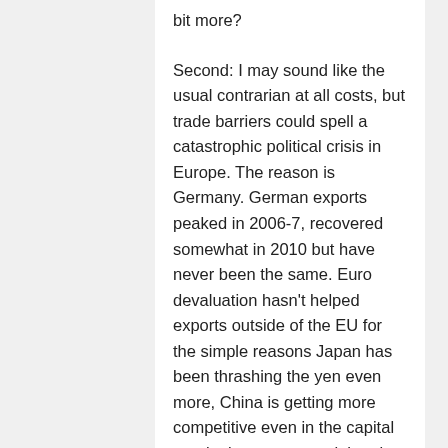bit more?
Second: I may sound like the usual contrarian at all costs, but trade barriers could spell a catastrophic political crisis in Europe. The reason is Germany. German exports peaked in 2006-7, recovered somewhat in 2010 but have never been the same. Euro devaluation hasn't helped exports outside of the EU for the simple reasons Japan has been thrashing the yen even more, China is getting more competitive even in the capital goods department and the pie is shrinking for all parts involved. Already now there are worries China's “downturn” (is it a hard or soft landing?)